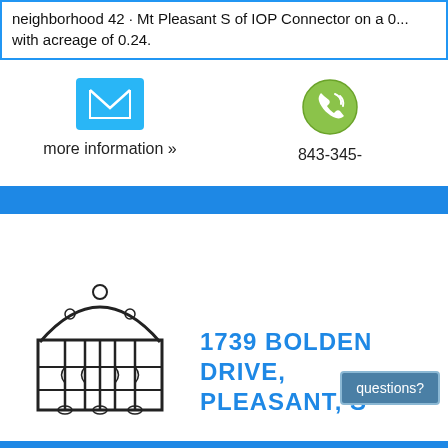neighborhood 42 · Mt Pleasant S of IOP Connector on a ... with acreage of 0.24.
[Figure (illustration): Email envelope icon - cyan/light blue square with white envelope outline]
more information »
[Figure (illustration): Phone icon - green circular phone symbol]
843-345-
[Figure (illustration): Decorative iron gate logo illustration]
1739 BOLDEN DRIVE, PLEASANT, S
questions?